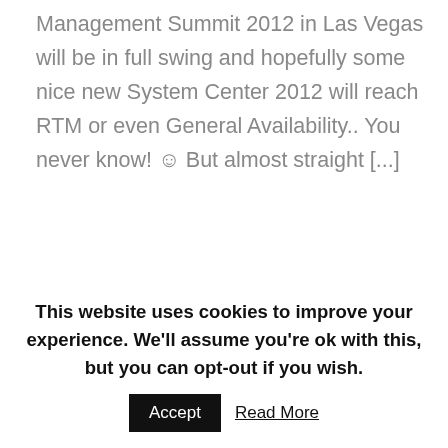Management Summit 2012 in Las Vegas will be in full swing and hopefully some nice new System Center 2012 will reach RTM or even General Availability.. You never know! ☺ But almost straight [...]
READ MORE
[Figure (other): Row of five circular social media icon buttons: f (Facebook), t (Twitter), g (Google+), in (LinkedIn), t (Tumblr)]
This website uses cookies to improve your experience. We'll assume you're ok with this, but you can opt-out if you wish. Accept  Read More